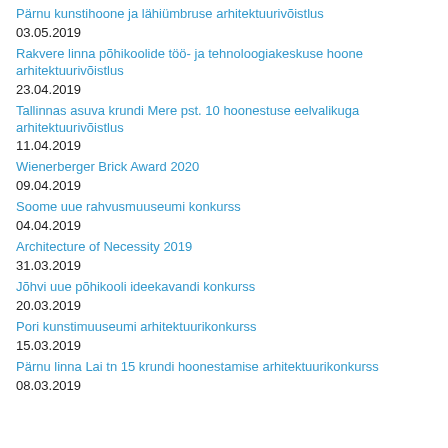Pärnu kunstihoone ja lähiümbruse arhitektuurivõistlus
03.05.2019
Rakvere linna põhikoolide töö- ja tehnoloogiakeskuse hoone arhitektuurivõistlus
23.04.2019
Tallinnas asuva krundi Mere pst. 10 hoonestuse eelvalikuga arhitektuurivõistlus
11.04.2019
Wienerberger Brick Award 2020
09.04.2019
Soome uue rahvusmuuseumi konkurss
04.04.2019
Architecture of Necessity 2019
31.03.2019
Jõhvi uue põhikooli ideekavandi konkurss
20.03.2019
Pori kunstimuuseumi arhitektuurikonkurss
15.03.2019
Pärnu linna Lai tn 15 krundi hoonestamise arhitektuurikonkurss
08.03.2019